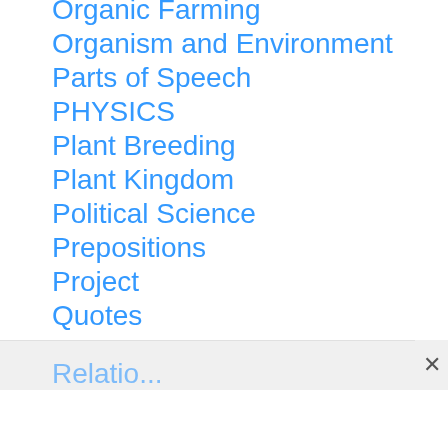Organic Farming
Organism and Environment
Parts of Speech
PHYSICS
Plant Breeding
Plant Kingdom
Political Science
Prepositions
Project
Quotes
Relation...